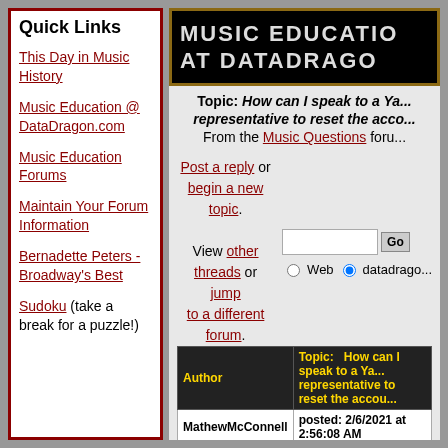Quick Links
This Day in Music History
Music Education @ DataDragon.com
Music Education Forums
Maintain Your Forum Information
Bernadette Peters - Broadway's Best
Sudoku (take a break for a puzzle!)
[Figure (screenshot): Dark banner image with text MUSIC EDUCATION AT DATADRAGO in white bold letters on black background with brown border]
Topic: How can I speak to a Ya... representative to reset the acco... From the Music Questions foru...
Post a reply or begin a new topic. View other threads or jump to a different forum.
| Author | Topic:   How can I speak to a Ya... representative to reset the accou... |
| --- | --- |
| MathewMcConnell | posted: 2/6/2021 at 2:56:08 AM |